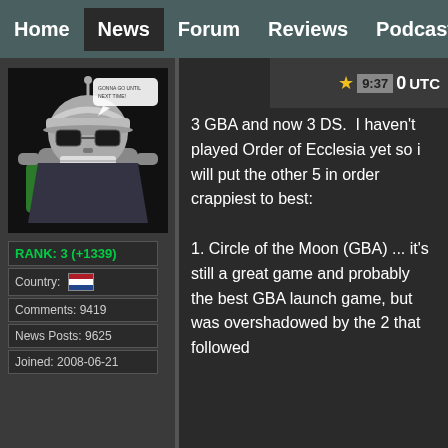Home | News | Forum | Reviews | Podcast
[Figure (illustration): Avatar image of Bender (robot character from Futurama) wearing sunglasses and holding a beer bottle, with a speech bubble, on a dark background]
RANK: 3 (+1339)
Country: [Netherlands flag]
Comments: 9419
News Posts: 9625
Joined: 2008-06-21
9:37 UTC  0
3 GBA and now 3 DS.  I haven't played Order of Ecclesia yet so i will put the other 5 in order crappiest to best:

1. Circle of the Moon (GBA) ... it's still a great game and probably the best GBA launch game, but was overshadowed by the 2 that followed